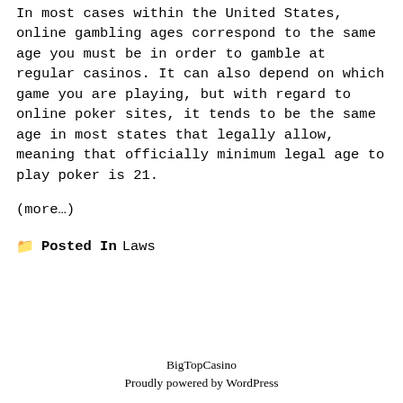In most cases within the United States, online gambling ages correspond to the same age you must be in order to gamble at regular casinos. It can also depend on which game you are playing, but with regard to online poker sites, it tends to be the same age in most states that legally allow, meaning that officially minimum legal age to play poker is 21.
(more…)
Posted In Laws
BigTopCasino
Proudly powered by WordPress